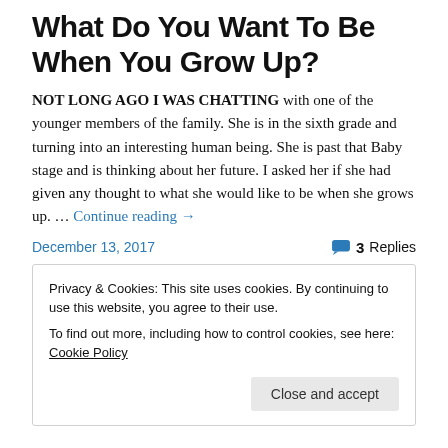What Do You Want To Be When You Grow Up?
NOT LONG AGO I WAS CHATTING with one of the younger members of the family. She is in the sixth grade and turning into an interesting human being. She is past that Baby stage and is thinking about her future. I asked her if she had given any thought to what she would like to be when she grows up. … Continue reading →
December 13, 2017     3 Replies
Privacy & Cookies: This site uses cookies. By continuing to use this website, you agree to their use.
To find out more, including how to control cookies, see here: Cookie Policy
Close and accept